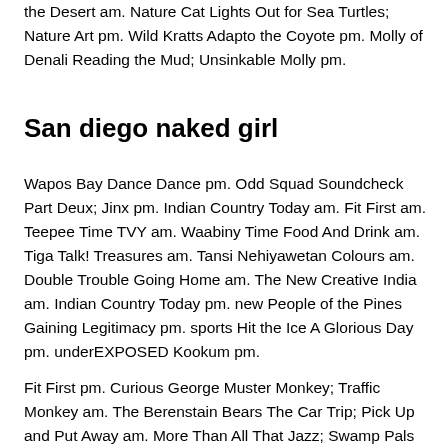the Desert am. Nature Cat Lights Out for Sea Turtles; Nature Art pm. Wild Kratts Adapto the Coyote pm. Molly of Denali Reading the Mud; Unsinkable Molly pm.
San diego naked girl
Wapos Bay Dance Dance pm. Odd Squad Soundcheck Part Deux; Jinx pm. Indian Country Today am. Fit First am. Teepee Time TVY am. Waabiny Time Food And Drink am. Tiga Talk! Treasures am. Tansi Nehiyawetan Colours am. Double Trouble Going Home am. The New Creative India am. Indian Country Today pm. new People of the Pines Gaining Legitimacy pm. sports Hit the Ice A Glorious Day pm. underEXPOSED Kookum pm.
Fit First pm. Curious George Muster Monkey; Traffic Monkey am. The Berenstain Bears The Car Trip; Pick Up and Put Away am. More Than All That Jazz; Swamp Pals am. Wild Kratts Tortuga Tom; Homey. Molly of Denali Sea Sensors; Pack of More am.